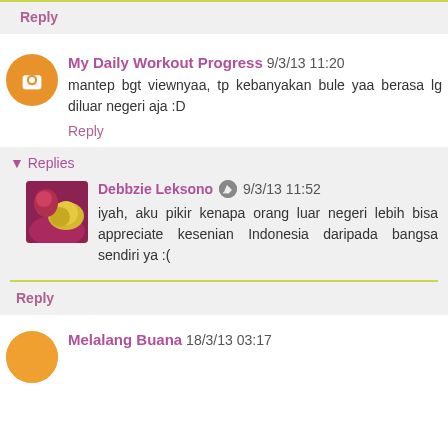Reply
My Daily Workout Progress 9/3/13 11:20
mantep bgt viewnyaa, tp kebanyakan bule yaa berasa lg diluar negeri aja :D
Reply
Replies
Debbzie Leksono 9/3/13 11:52
iyah, aku pikir kenapa orang luar negeri lebih bisa appreciate kesenian Indonesia daripada bangsa sendiri ya :(
Reply
Melalang Buana 18/3/13 03:17